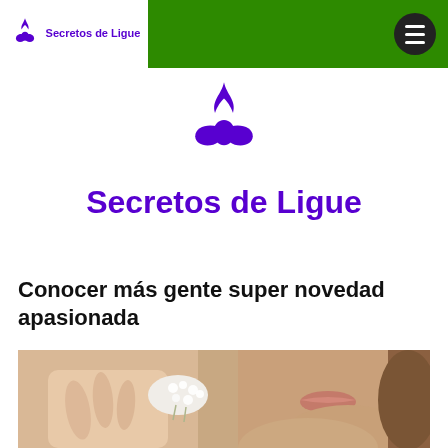Secretos de Ligue
[Figure (logo): Secretos de Ligue logo — purple unicorn/flower icon with text 'Secretos de Ligue' in purple, centered on white background]
Conocer más gente super novedad apasionada
[Figure (photo): Close-up photo of a young woman holding small white flowers near her face, soft natural lighting]